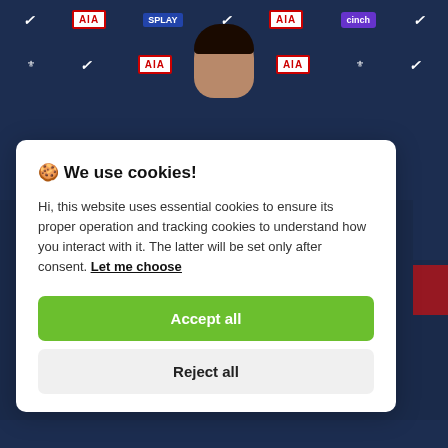[Figure (photo): Tottenham Hotspur press conference background with sponsor logos (AIA, SPLAY, Nike, cinch, Tottenham crest) and a player sitting in front of the branded backdrop]
🍪 We use cookies!
Hi, this website uses essential cookies to ensure its proper operation and tracking cookies to understand how you interact with it. The latter will be set only after consent. Let me choose
Accept all
Reject all